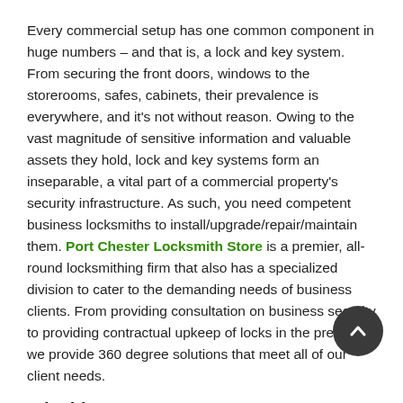Every commercial setup has one common component in huge numbers – and that is, a lock and key system. From securing the front doors, windows to the storerooms, safes, cabinets, their prevalence is everywhere, and it's not without reason. Owing to the vast magnitude of sensitive information and valuable assets they hold, lock and key systems form an inseparable, a vital part of a commercial property's security infrastructure. As such, you need competent business locksmiths to install/upgrade/repair/maintain them. Port Chester Locksmith Store is a premier, all-round locksmithing firm that also has a specialized division to cater to the demanding needs of business clients. From providing consultation on business security to providing contractual upkeep of locks in the premises, we provide 360 degree solutions that meet all of our client needs.
Why hire us?
Commercial spaces, in general, have locksmithing needs